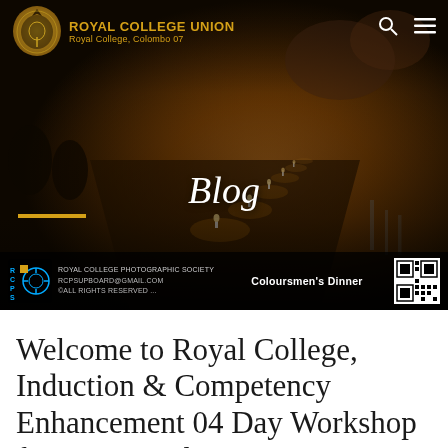[Figure (photo): Dark atmospheric photo of a long banquet table with candles and floral decorations, serving as hero banner for the Royal College Union blog page. Shows the Coloursmen's Dinner event.]
ROYAL COLLEGE UNION
Royal College, Colombo 07
Blog
ROYAL COLLEGE PHOTOGRAPHIC SOCIETY
rcpsupboard@gmail.com
©ALL RIGHTS RESERVED ...
Coloursmen's Dinner
Welcome to Royal College, Induction & Competency Enhancement 04 Day Workshop for New Teachers